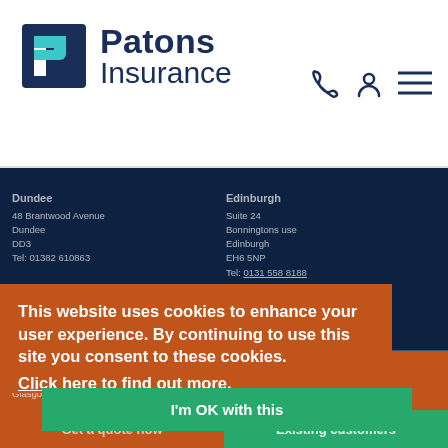[Figure (logo): Patons Insurance logo with stylized P icon in dark navy and teal]
Patons Insurance
[Figure (screenshot): Dark navy blue band background section of website]
Dundee
48 Brantwood Avenue
Dundee
DD3
Tel: 01382 610863
Edinburgh
Suite 24
Bonningtons use
Edinburgh
EH6 5NP
Tel: 0131 558 8188
Glasgow
84 Lister Street
Glasgow
Liverpool
9 Connect
Business Village
This website uses cookies to enhance your user experience. By continuing to use this site you consent to these cookies.
Click here to find out more.
I'm OK with this
Get a quote now
Existing customers